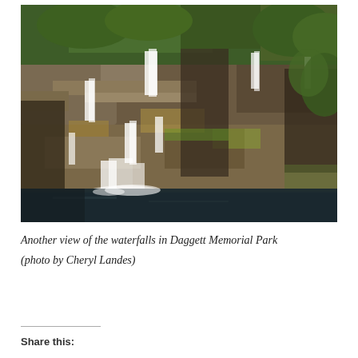[Figure (photo): A waterfall cascading over layered rock formations into a dark pool below, surrounded by lush green trees and vegetation. Multiple tiers of white water flow over mossy and mineral-stained rocks. The photo is taken at Daggett Memorial Park, credited to Cheryl Landes.]
Another view of the waterfalls in Daggett Memorial Park (photo by Cheryl Landes)
Share this: